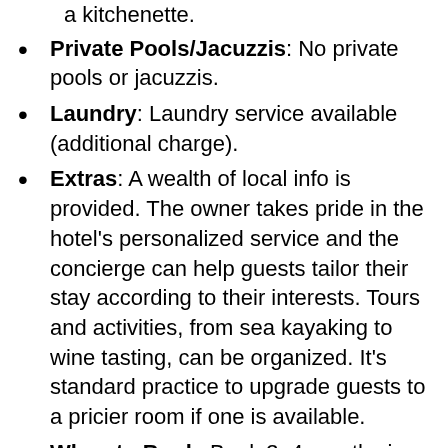a kitchenette.
Private Pools/Jacuzzis: No private pools or jacuzzis.
Laundry: Laundry service available (additional charge).
Extras: A wealth of local info is provided. The owner takes pride in the hotel’s personalized service and the concierge can help guests tailor their stay according to their interests. Tours and activities, from sea kayaking to wine tasting, can be organized. It’s standard practice to upgrade guests to a pricier room if one is available.
When to Book: Book 3–4 months in